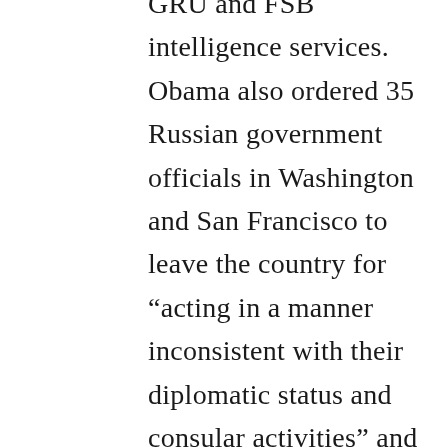GRU and FSB intelligence services. Obama also ordered 35 Russian government officials in Washington and San Francisco to leave the country for “acting in a manner inconsistent with their diplomatic status and consular activities” and ordered the closure of two waterfront compounds the administration said were used for Russian intelligence